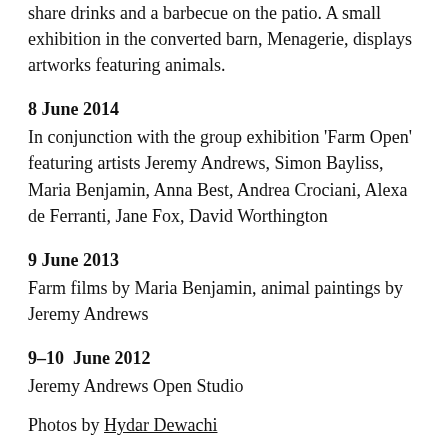share drinks and a barbecue on the patio. A small exhibition in the converted barn, Menagerie, displays artworks featuring animals.
8 June 2014
In conjunction with the group exhibition ‘Farm Open’ featuring artists Jeremy Andrews, Simon Bayliss, Maria Benjamin, Anna Best, Andrea Crociani, Alexa de Ferranti, Jane Fox, David Worthington
9 June 2013
Farm films by Maria Benjamin, animal paintings by Jeremy Andrews
9–10  June 2012
Jeremy Andrews Open Studio
Photos by Hydar Dewachi